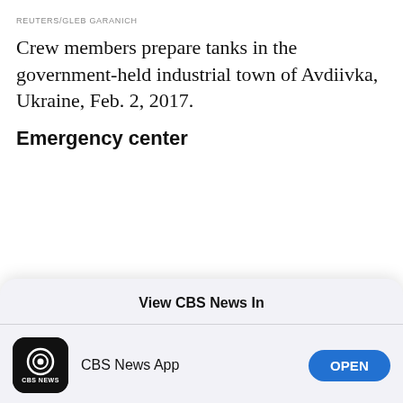REUTERS/GLEB GARANICH
Crew members prepare tanks in the government-held industrial town of Avdiivka, Ukraine, Feb. 2, 2017.
Emergency center
[Figure (screenshot): Mobile app picker dialog: 'View CBS News In' with two options — CBS News App (OPEN button) and Safari (CONTINUE button)]